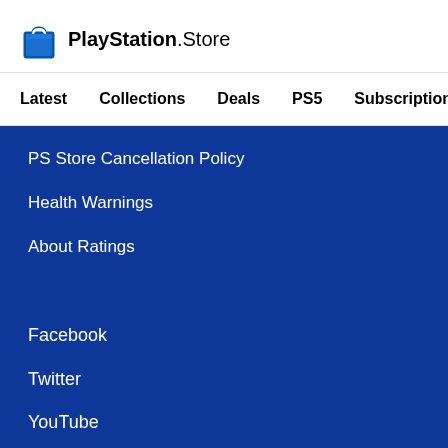[Figure (logo): PlayStation Store logo with shopping bag icon]
Latest   Collections   Deals   PS5   Subscriptions >
PS Store Cancellation Policy
Health Warnings
About Ratings
Facebook
Twitter
YouTube
Android App
iOS App